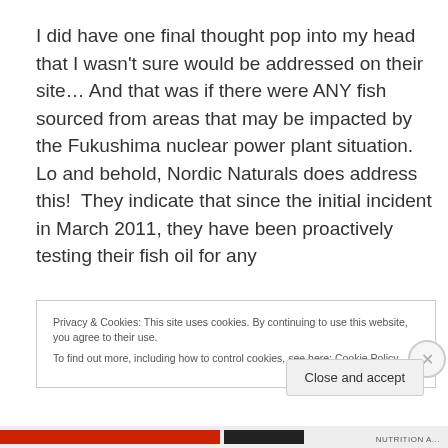I did have one final thought pop into my head that I wasn't sure would be addressed on their site… And that was if there were ANY fish sourced from areas that may be impacted by the Fukushima nuclear power plant situation. Lo and behold, Nordic Naturals does address this!  They indicate that since the initial incident in March 2011, they have been proactively testing their fish oil for any
Privacy & Cookies: This site uses cookies. By continuing to use this website, you agree to their use.
To find out more, including how to control cookies, see here: Cookie Policy
Close and accept